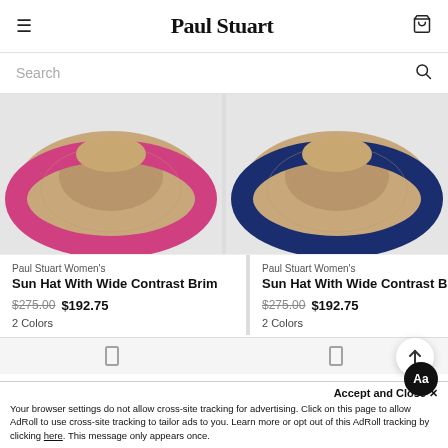Paul Stuart
Search
[Figure (photo): Close-up top-down view of a straw sun hat with wide pink contrast brim, on grey background]
[Figure (photo): Close-up top-down view of a straw sun hat with wide navy blue contrast brim, on grey background]
Paul Stuart Women's
Sun Hat With Wide Contrast Brim
$275.00  $192.75
2 Colors
Paul Stuart Women's
Sun Hat With Wide Contrast Brim
$275.00  $192.75
2 Colors
Accept and Close ✕
Your browser settings do not allow cross-site tracking for advertising. Click on this page to allow AdRoll to use cross-site tracking to tailor ads to you. Learn more or opt out of this AdRoll tracking by clicking here. This message only appears once.